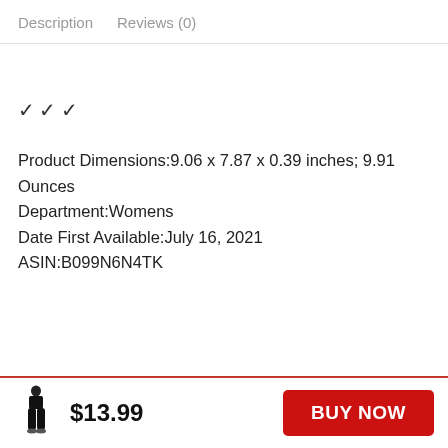Description   Reviews (0)
✓
✓
✓
Product Dimensions:9.06 x 7.87 x 0.39 inches; 9.91 Ounces
Department:Womens
Date First Available:July 16, 2021
ASIN:B099N6N4TK
$13.99
BUY NOW